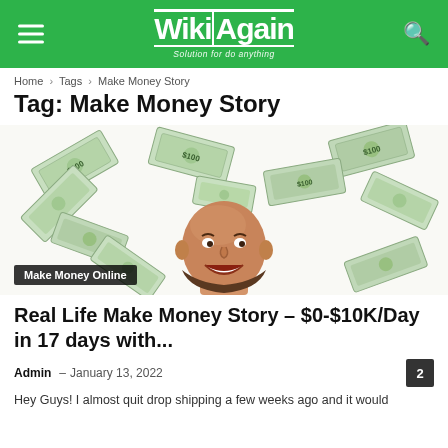WikiAgain – Solution for do anything
Home › Tags › Make Money Story
Tag: Make Money Story
[Figure (photo): A bald man laughing with US dollar bills flying around him on a white background. Overlay badge reads 'Make Money Online'.]
Real Life Make Money Story – $0-$10K/Day in 17 days with...
Admin – January 13, 2022
Hey Guys! I almost quit drop shipping a few weeks ago and it would